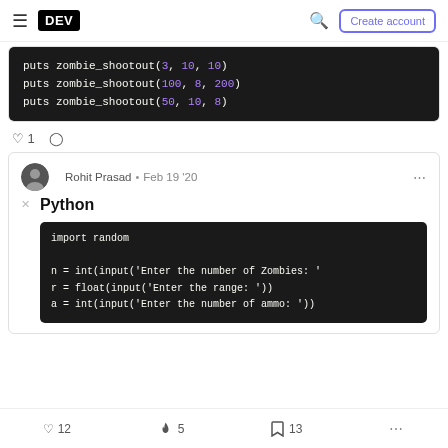DEV — Create account
[Figure (screenshot): Code block showing Ruby puts zombie_shootout calls with arguments]
♡ 1  ○
Rohit Prasad · Feb 19 '20
Python
[Figure (screenshot): Python code block: import random, n = int(input('Enter the number of Zombies: ')), r = float(input('Enter the range: ')), a = int(input('Enter the number of ammo: '))]
♡ 12   🔥 5   🔖 13   ...